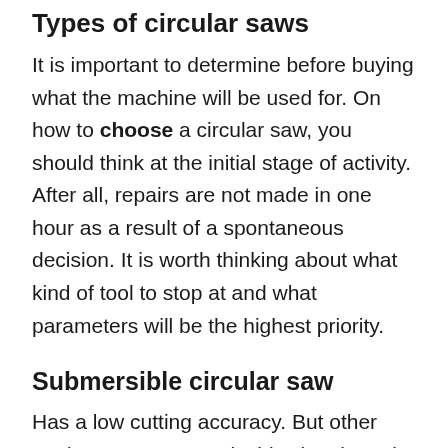Types of circular saws
It is important to determine before buying what the machine will be used for. On how to choose a circular saw, you should think at the initial stage of activity. After all, repairs are not made in one hour as a result of a spontaneous decision. It is worth thinking about what kind of tool to stop at and what parameters will be the highest priority.
Submersible circular saw
Has a low cutting accuracy. But other equipment can remedy this situation. The circular saw differs from the classic variations.